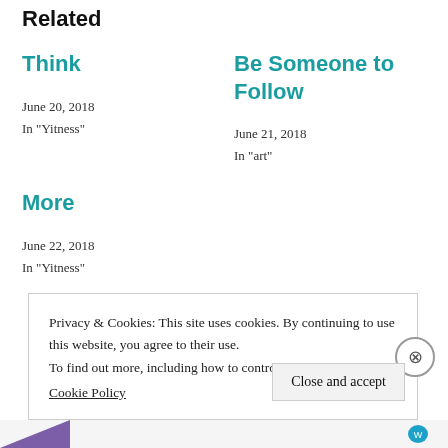Related
Think
June 20, 2018
In "Yitness"
Be Someone to Follow
June 21, 2018
In "art"
More
June 22, 2018
In "Yitness"
Privacy & Cookies: This site uses cookies. By continuing to use this website, you agree to their use.
To find out more, including how to control cookies, see here:
Cookie Policy